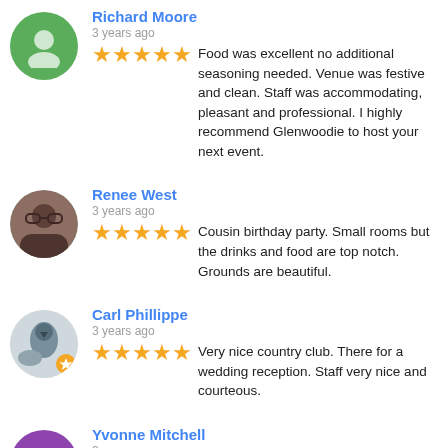Richard Moore
3 years ago
Food was excellent no additional seasoning needed. Venue was festive and clean. Staff was accommodating, pleasant and professional. I highly recommend Glenwoodie to host your next event.
Renee West
3 years ago
Cousin birthday party. Small rooms but the drinks and food are top notch. Grounds are beautiful.
Carl Phillippe
3 years ago
Very nice country club. There for a wedding reception. Staff very nice and courteous.
Yvonne Mitchell
3 years ago